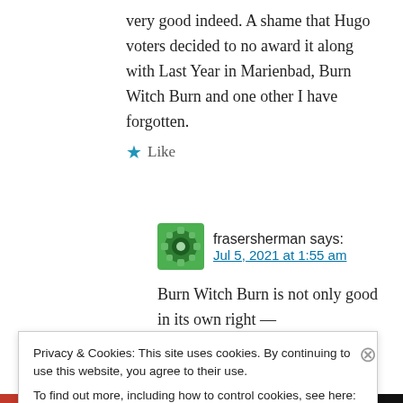very good indeed. A shame that Hugo voters decided to no award it along with Last Year in Marienbad, Burn Witch Burn and one other I have forgotten.
Like
frasersherman says: Jul 5, 2021 at 1:55 am
Burn Witch Burn is not only good in its own right —
Privacy & Cookies: This site uses cookies. By continuing to use this website, you agree to their use. To find out more, including how to control cookies, see here: Cookie Policy
Close and accept